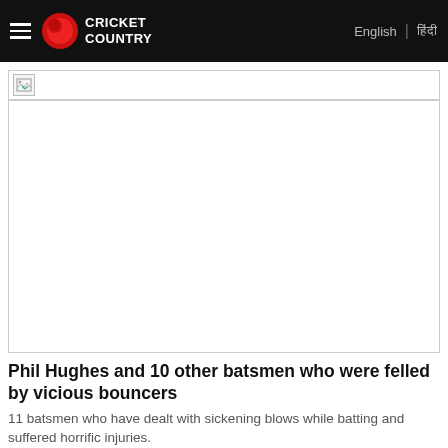Cricket Country | English | हिंदी
[Figure (photo): Broken/missing image placeholder above main article image area]
[Figure (photo): Main article image (not loaded / blank white area)]
Phil Hughes and 10 other batsmen who were felled by vicious bouncers
11 batsmen who have dealt with sickening blows while batting and suffered horrific injuries.